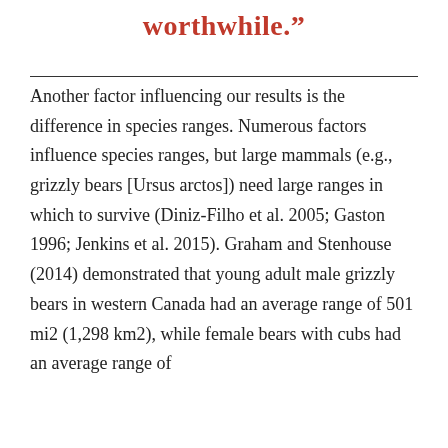worthwhile.”
Another factor influencing our results is the difference in species ranges. Numerous factors influence species ranges, but large mammals (e.g., grizzly bears [Ursus arctos]) need large ranges in which to survive (Diniz-Filho et al. 2005; Gaston 1996; Jenkins et al. 2015). Graham and Stenhouse (2014) demonstrated that young adult male grizzly bears in western Canada had an average range of 501 mi2 (1,298 km2), while female bears with cubs had an average range of